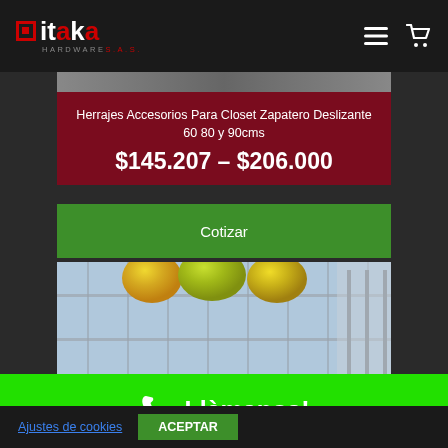[Figure (logo): Itaka Hardware S.A.S. logo with red square icon and white/red text on dark background]
[Figure (photo): Partial product image at top, shelf/hardware hardware]
Herrajes Accesorios Para Closet Zapatero Deslizante 60 80 y 90cms
$145.207 – $206.000
Cotizar
[Figure (photo): Wire basket shelf rack with yellow/green fruits (mangoes or similar)]
Usamos cookies en nuestro sitio web para brindarle la experiencia más relevante recordando sus preferencias y
Llàmanos!
Ajustes de cookies
ACEPTAR